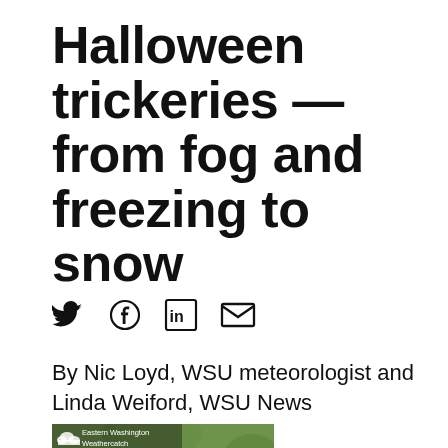Halloween trickeries — from fog and freezing to snow
[Figure (other): Social media sharing icons: Twitter (bird), Facebook (f), LinkedIn (in), Email (envelope)]
By Nic Loyd, WSU meteorologist and Linda Weiford, WSU News
[Figure (photo): Photo of two people outdoors in front of green foliage with overlay text 'Eastern Washington Weathercatch' and a cloud icon. One person wears a hat, the other wears a white shirt.]